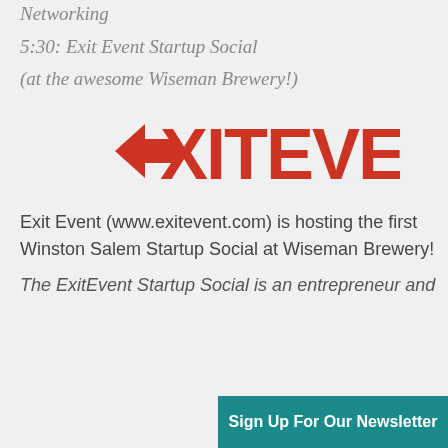Networking
5:30: Exit Event Startup Social
(at the awesome Wiseman Brewery!)
[Figure (logo): ExitEvent logo in red with a left-pointing arrow replacing the E]
Exit Event (www.exitevent.com) is hosting the first Winston Salem Startup Social at Wiseman Brewery!
The ExitEvent Startup Social is an entrepreneur and
Sign Up For Our Newsletter